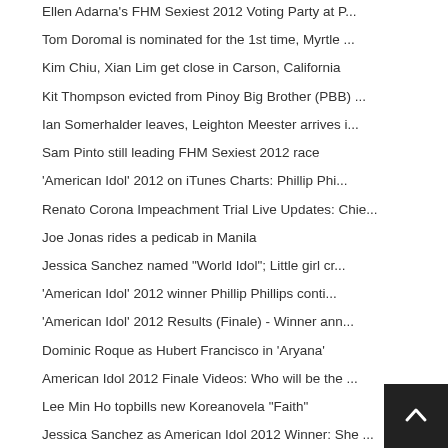Ellen Adarna's FHM Sexiest 2012 Voting Party at P...
Tom Doromal is nominated for the 1st time, Myrtle ...
Kim Chiu, Xian Lim get close in Carson, California
Kit Thompson evicted from Pinoy Big Brother (PBB) ...
Ian Somerhalder leaves, Leighton Meester arrives i...
Sam Pinto still leading FHM Sexiest 2012 race
'American Idol' 2012 on iTunes Charts: Phillip Phi...
Renato Corona Impeachment Trial Live Updates: Chie...
Joe Jonas rides a pedicab in Manila
Jessica Sanchez named "World Idol"; Little girl cr...
'American Idol' 2012 winner Phillip Phillips conti...
'American Idol' 2012 Results (Finale) - Winner ann...
Dominic Roque as Hubert Francisco in 'Aryana'
American Idol 2012 Finale Videos: Who will be the ...
Lee Min Ho topbills new Koreanovela "Faith"
Jessica Sanchez as American Idol 2012 Winner: She ...
American Idol 2012 Finale - Live Performances
CJ Corona On Trial: Chief Justice Renato Corona ta...
Joe Jonas of the Jonas Brothers arrives in Manila ...
Jenna Talackova, transgender Miss Universe Canada ...
Pinoy Big Brother (PBB) Teen Edition 4 5th Nominat...
Gladet Loreto evicted from Pinoy Big Brother (PBB)